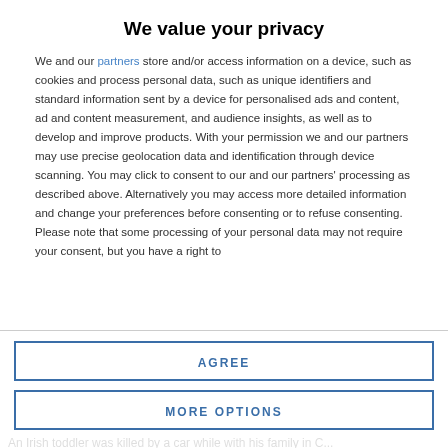We value your privacy
We and our partners store and/or access information on a device, such as cookies and process personal data, such as unique identifiers and standard information sent by a device for personalised ads and content, ad and content measurement, and audience insights, as well as to develop and improve products. With your permission we and our partners may use precise geolocation data and identification through device scanning. You may click to consent to our and our partners’ processing as described above. Alternatively you may access more detailed information and change your preferences before consenting or to refuse consenting. Please note that some processing of your personal data may not require your consent, but you have a right to
AGREE
MORE OPTIONS
An Irish toddler was killed by a car while with his family in C...